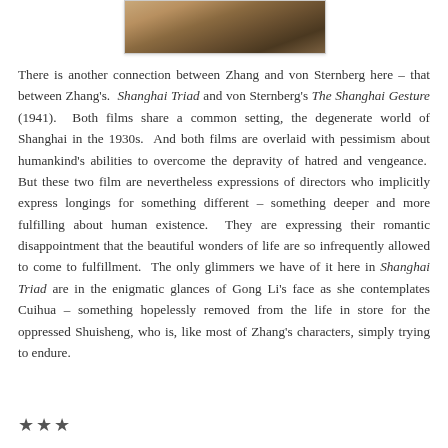[Figure (photo): Partial cropped photo of a person, appearing to show a face/upper body, with warm brown tones]
There is another connection between Zhang and von Sternberg here – that between Zhang's. Shanghai Triad and von Sternberg's The Shanghai Gesture (1941). Both films share a common setting, the degenerate world of Shanghai in the 1930s. And both films are overlaid with pessimism about humankind's abilities to overcome the depravity of hatred and vengeance. But these two film are nevertheless expressions of directors who implicitly express longings for something different – something deeper and more fulfilling about human existence. They are expressing their romantic disappointment that the beautiful wonders of life are so infrequently allowed to come to fulfillment. The only glimmers we have of it here in Shanghai Triad are in the enigmatic glances of Gong Li's face as she contemplates Cuihua – something hopelessly removed from the life in store for the oppressed Shuisheng, who is, like most of Zhang's characters, simply trying to endure.
★★★